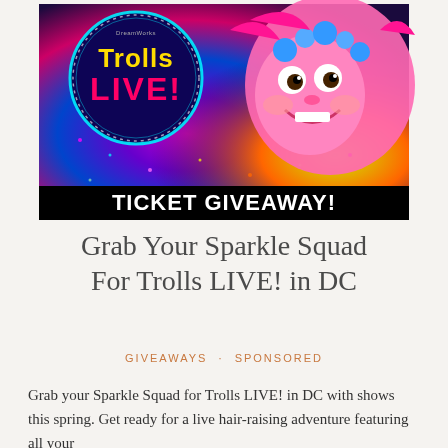[Figure (illustration): Trolls LIVE! ticket giveaway promotional image featuring DreamWorks logo, colorful sparkle background, the character Poppy (pink troll with blue flowers in hair), a glowing neon circle with 'Trolls LIVE!' text, and a black banner at the bottom reading 'TICKET GIVEAWAY!']
Grab Your Sparkle Squad For Trolls LIVE! in DC
GIVEAWAYS · SPONSORED
Grab your Sparkle Squad for Trolls LIVE! in DC with shows this spring. Get ready for a live hair-raising adventure featuring all your